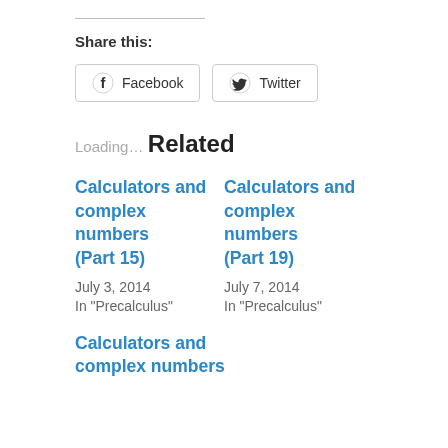Share this:
Facebook  Twitter
Loading…
Related
Calculators and complex numbers (Part 15)
July 3, 2014
In "Precalculus"
Calculators and complex numbers (Part 19)
July 7, 2014
In "Precalculus"
Calculators and complex numbers